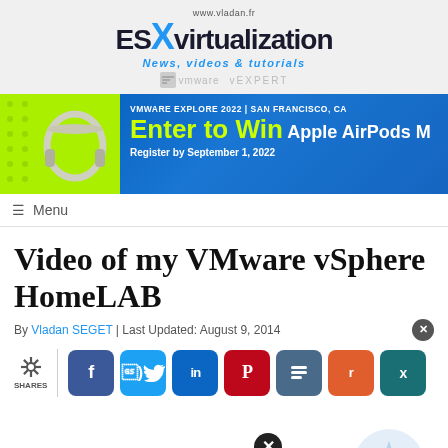[Figure (logo): ESXvirtualization website logo with URL www.vladan.fr, tagline 'News, videos & tutorials', VMware vExpert badges]
[Figure (photo): Banner advertisement for VMware Explore 2022 in San Francisco, CA. Enter to Win Apple AirPods Max. Register by September 1, 2022. Features headphones image on green/blue background.]
≡  Menu
Video of my VMware vSphere HomeLAB
By Vladan SEGET | Last Updated: August 9, 2014
[Figure (infographic): Social share buttons row: SHARES icon, Facebook, Twitter, LinkedIn, Pinterest, Buffer, Reddit, Xing buttons. Close buttons and Tumblr button also visible.]